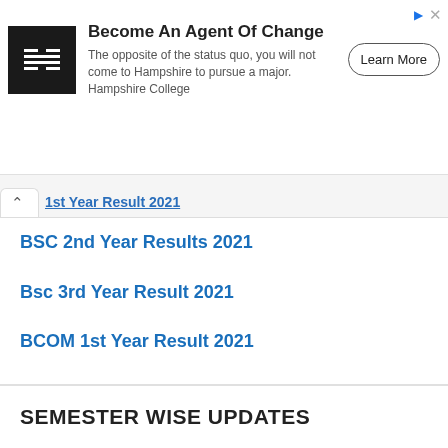[Figure (other): Hampshire College advertisement banner with logo, text 'Become An Agent Of Change', body copy, and Learn More button]
1st Year Result 2021
BSC 2nd Year Results 2021
Bsc 3rd Year Result 2021
BCOM 1st Year Result 2021
B.Com 2nd Year Result 2021
BCom 3rd Year Result 2021
SEMESTER WISE UPDATES